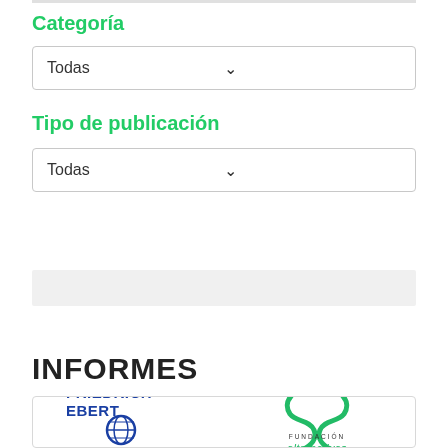Categoría
Todas
Tipo de publicación
Todas
Buscar
INFORMES
[Figure (logo): Friedrich Ebert Stiftung logo (blue text with globe icon) and Fundación Alternativas logo (green script letter S with text)]